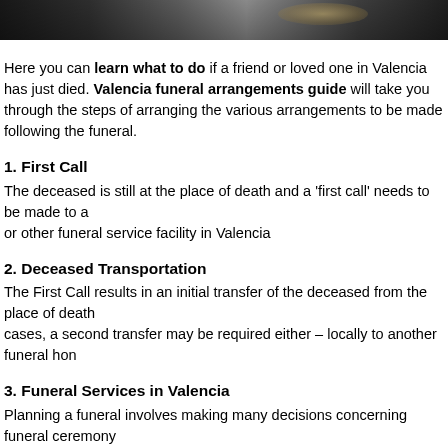[Figure (photo): Dark strip image at the top of the page, showing a partial photo with dark tones and a highlight suggesting a person or object]
Here you can learn what to do if a friend or loved one in Valencia has just died. Valencia funeral arrangements guide will take you through the steps of arranging the various arrangements to be made following the funeral.
1. First Call
The deceased is still at the place of death and a 'first call' needs to be made to a or other funeral service facility in Valencia
2. Deceased Transportation
The First Call results in an initial transfer of the deceased from the place of death cases, a second transfer may be required either – locally to another funeral hon
3. Funeral Services in Valencia
Planning a funeral involves making many decisions concerning funeral ceremon assistance in arranging funerals people usually turn to Valencia funeral directors
4. Valencia Cemetery Arrangements
If cemetery property has not already been purchased, it will be necessary to me burial or entombment space. In some cases, the funeral director can make thes